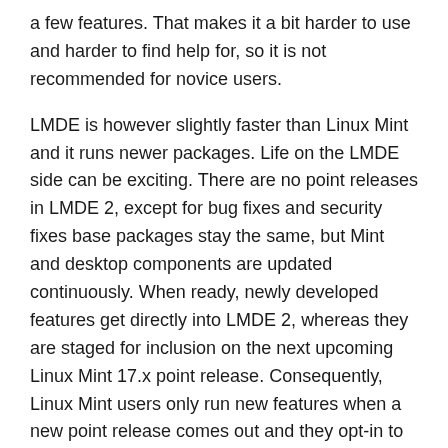a few features. That makes it a bit harder to use and harder to find help for, so it is not recommended for novice users.
LMDE is however slightly faster than Linux Mint and it runs newer packages. Life on the LMDE side can be exciting. There are no point releases in LMDE 2, except for bug fixes and security fixes base packages stay the same, but Mint and desktop components are updated continuously. When ready, newly developed features get directly into LMDE 2, whereas they are staged for inclusion on the next upcoming Linux Mint 17.x point release. Consequently, Linux Mint users only run new features when a new point release comes out and they opt-in to upgrade to it. LMDE 2 users don't have that choice, but they also don't have to wait for new packages to mature and they usually get to run them first. It's more risky, but more exciting.
Important info: